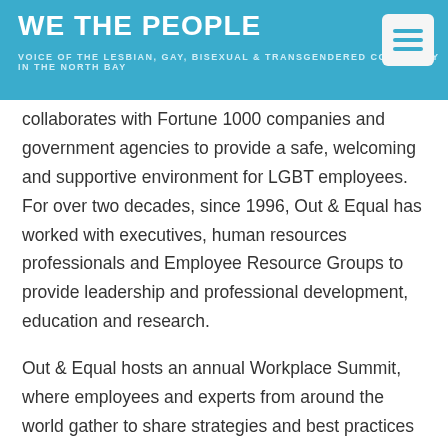WE THE PEOPLE — VOICE OF THE LESBIAN, GAY, BISEXUAL & TRANSGENDERED COMMUNITY IN THE NORTH BAY
collaborates with Fortune 1000 companies and government agencies to provide a safe, welcoming and supportive environment for LGBT employees. For over two decades, since 1996, Out & Equal has worked with executives, human resources professionals and Employee Resource Groups to provide leadership and professional development, education and research.
Out & Equal hosts an annual Workplace Summit, where employees and experts from around the world gather to share strategies and best practices to create workplace equality, inclusive of all sexual orientations, gender identities and expressions. For more information go to www.outandequal.org.